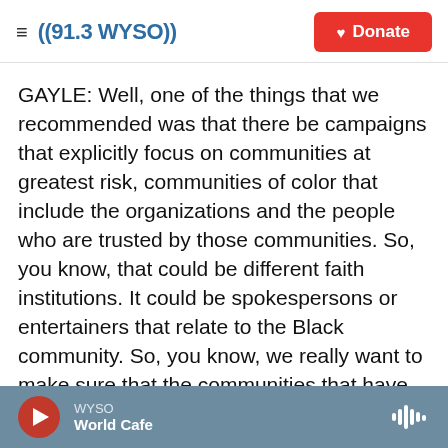((91.3 WYSO)) | Donate
GAYLE: Well, one of the things that we recommended was that there be campaigns that explicitly focus on communities at greatest risk, communities of color that include the organizations and the people who are trusted by those communities. So, you know, that could be different faith institutions. It could be spokespersons or entertainers that relate to the Black community. So, you know, we really want to make sure that the communities that have been most disproportionately impacted by this don't get left out of what could make a big difference in their life
WYSO | World Cafe